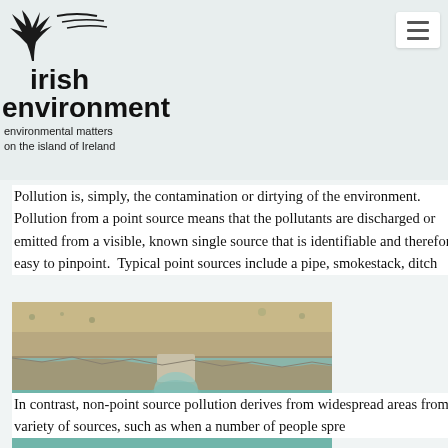Irish environment — environmental matters on the island of Ireland
Pollution is, simply, the contamination or dirtying of the environment. Pollution from a point source means that the pollutants are discharged or emitted from a visible, known single source that is identifiable and therefore easy to pinpoint. Typical point sources include a pipe, smokestack, ditch
[Figure (photo): Aerial photograph showing coastal area with a road/seawall running alongside the shoreline. Water discharge or runoff appears to be flowing from a pipe or structure into the sea, with discoloration visible in the water near the outfall. The image shows land on one side and green-blue ocean on the other.]
In contrast, non-point source pollution derives from widespread areas from a variety of sources, such as when a number of people spre